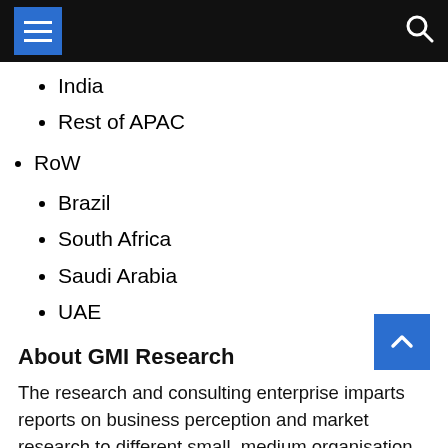[Navigation bar with menu icon and search icon]
India
Rest of APAC
RoW
Brazil
South Africa
Saudi Arabia
UAE
About GMI Research
The research and consulting enterprise imparts reports on business perception and market research to different small, medium organisation as well as large companies. The research experts of GMI Research effectuate market intelligence studies to validate that all meaningful and factual information and company on enterprise resources of